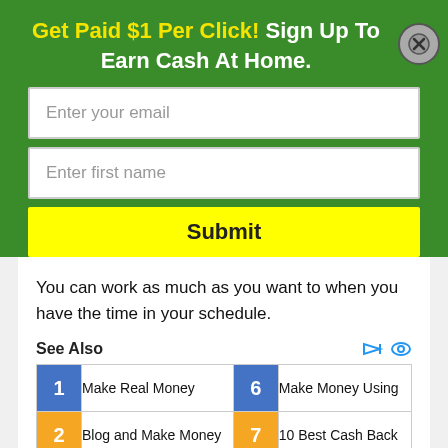Get Paid $1 Per Click! Sign Up To Earn Cash At Home.
[Figure (screenshot): Email input field with placeholder 'Enter your email']
[Figure (screenshot): First name input field with placeholder 'Enter first name']
[Figure (screenshot): Yellow Submit button]
You can work as much as you want to when you have the time in your schedule.
See Also
1 Make Real Money
6 Make Money Using
2 Blog and Make Money
7 10 Best Cash Back
3 Earn Money from
8 Get Free Gift Cards
4 Make Money by
9 Instant Cash